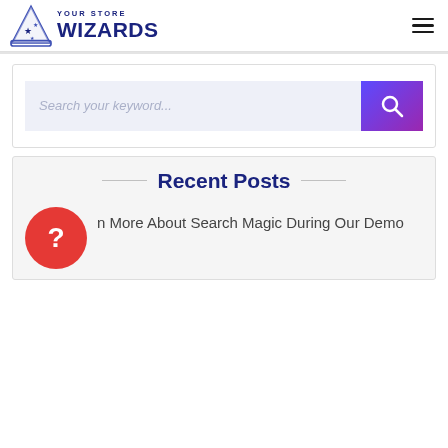YOUR STORE WIZARDS — navigation header with logo and hamburger menu
[Figure (screenshot): Search bar with placeholder text 'Search your keyword...' and a purple gradient search button with magnifying glass icon]
Recent Posts
n More About Search Magic During Our Demo